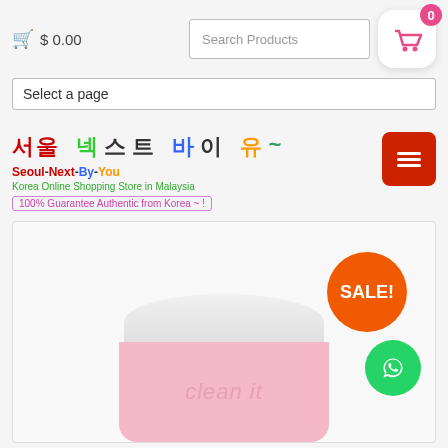🛒 $ 0.00  [Search Products] [0] [basket icon]
Select a page
[Figure (logo): Seoul-Next-By-You Korean online shopping store logo with Korean characters in multicolor and English subtitle 'Korea Online Shopping Store in Malaysia' and badge '100% Guarantee Authentic from Korea ~ !']
[Figure (illustration): Red hamburger menu button icon]
[Figure (photo): Product image showing a pink jar of 'clean it' Korean skincare product with white lid, with orange SALE! badge and green WhatsApp button overlaid]